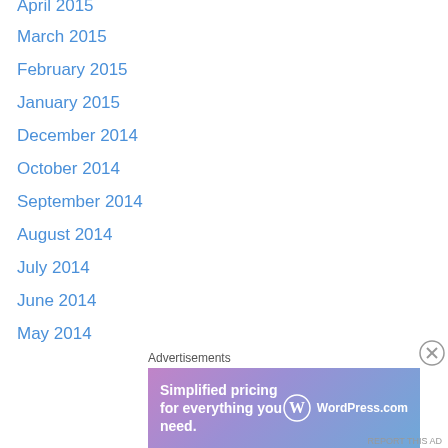April 2015
March 2015
February 2015
January 2015
December 2014
October 2014
September 2014
August 2014
July 2014
June 2014
May 2014
April 2014
March 2014
February 2014
January 2014
December 2013
November 2013
Advertisements
[Figure (infographic): WordPress.com advertisement banner: 'Simplified pricing for everything you need.' with WordPress.com logo on gradient pink-purple-blue background]